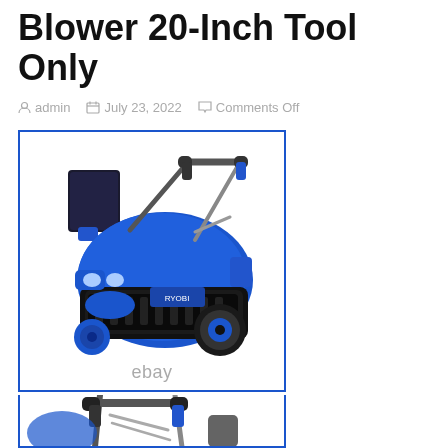Blower 20-Inch Tool Only
admin   July 23, 2022   Comments Off
[Figure (photo): Blue 20-inch cordless snow blower shown from the front-left angle, with blue and black housing, handle bars, and a wheel visible. An eBay watermark is at the bottom center.]
[Figure (photo): Close-up of the blue snow blower's handle and upper body section, showing metal handle bars with black grips and blue body parts.]